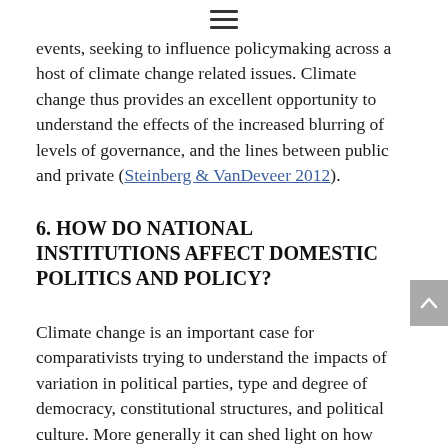≡
events, seeking to influence policymaking across a host of climate change related issues. Climate change thus provides an excellent opportunity to understand the effects of the increased blurring of levels of governance, and the lines between public and private (Steinberg & VanDeveer 2012).
6. HOW DO NATIONAL INSTITUTIONS AFFECT DOMESTIC POLITICS AND POLICY?
Climate change is an important case for comparativists trying to understand the impacts of variation in political parties, type and degree of democracy, constitutional structures, and political culture. More generally it can shed light on how